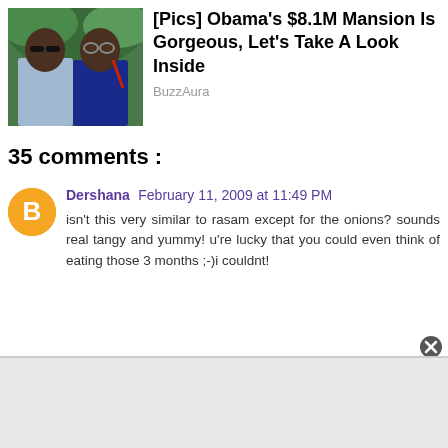[Figure (photo): Photo of two people (man and woman) outdoors with greenery in background]
[Pics] Obama's $8.1M Mansion Is Gorgeous, Let's Take A Look Inside
BuzzAura
35 comments :
[Figure (logo): Blogger orange circle avatar icon with B letter]
Dershana February 11, 2009 at 11:49 PM
isn't this very similar to rasam except for the onions? sounds real tangy and yummy! u're lucky that you could even think of eating those 3 months ;-)i couldnt!